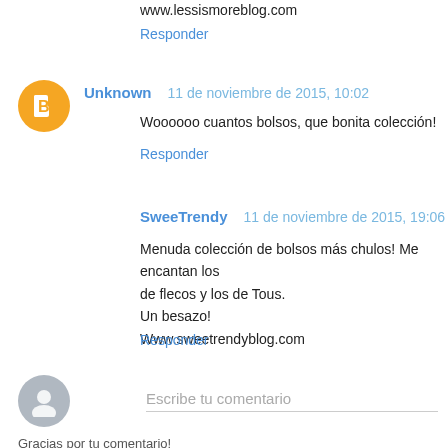www.lessismoreblog.com
Responder
Unknown 11 de noviembre de 2015, 10:02
Woooooo cuantos bolsos, que bonita colección!
Responder
SweeTrendy 11 de noviembre de 2015, 19:06
Menuda colección de bolsos más chulos! Me encantan los de flecos y los de Tous.
Un besazo!
Www.sweetrendyblog.com
Responder
Escribe tu comentario
Gracias por tu comentario!